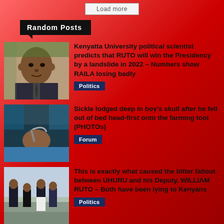Load more
Random Posts
[Figure (photo): Photo of a middle-aged African man in a suit]
Kenyatta University political scientist predicts that RUTO will win the Presidency by a landslide in 2022 – Numbers show RAILA losing badly
Politics
[Figure (photo): Photo of a child with a sickle lodged in their skull, lying down]
Sickle lodged deep in boy’s skull after he fell out of bed head-first onto the farming tool (PHOTOs)
Forum
[Figure (photo): Photo of men in suits and white trousers standing outside]
This is exactly what caused the bitter fallout between UHURU and his Deputy, WILLIAM RUTO – Both have been lying to Kenyans
Politics
[Figure (photo): Partial photo at bottom of page]
M... ... his wife of ch... and ...